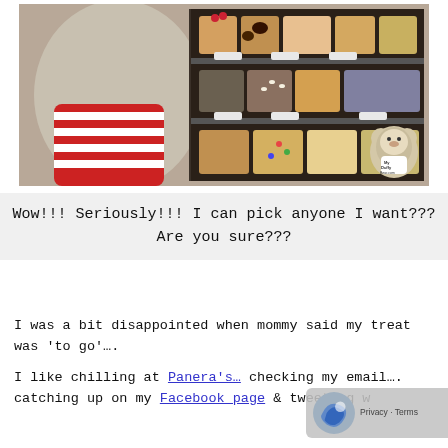[Figure (photo): Photo of a stuffed bear in a red striped shirt looking at bakery display cases filled with pastries and breads. A small Duffy Bear plush sits in the corner.]
Wow!!! Seriously!!! I can pick anyone I want???
Are you sure???
I was a bit disappointed when mommy said my treat was 'to go'….
I like chilling at Panera's… checking my email…. catching up on my Facebook page & tweeting w